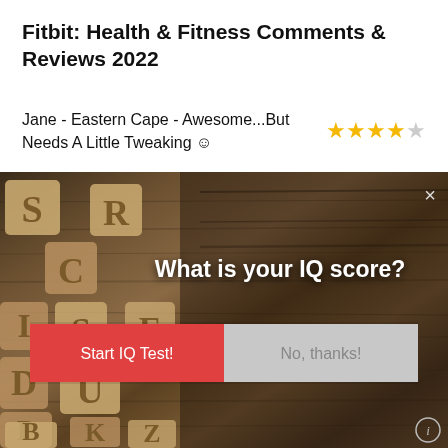Fitbit: Health & Fitness Comments & Reviews 2022
Jane - Eastern Cape - Awesome...But Needs A Little Tweaking ☺  ★★★★☆
[Figure (screenshot): Advertisement popup overlay on a webpage showing wooden letter tiles background with text 'What is your IQ score?' and two buttons: 'Start IQ Test!' (red) and 'No, thanks!' (gray). A close button (×) appears top right and an info button (ⓘ) bottom right.]